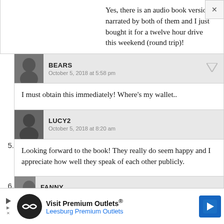Yes, there is an audio book version, narrated by both of them and I just bought it for a twelve hour drive this weekend (round trip)!
BEARS
October 5, 2018 at 5:58 pm
I must obtain this immediately! Where’s my wallet..
5. LUCY2
October 5, 2018 at 8:20 am
Looking forward to the book! They really do seem happy and I appreciate how well they speak of each other publicly.
6. FANNY
Visit Premium Outlets®
Leesburg Premium Outlets